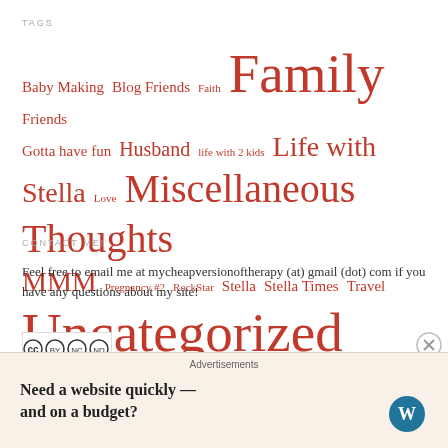TAGS
Baby Making Blog Friends Faith Family Friends Gotta have fun Husband life with 2 kids Life with Stella Love Miscellaneous Thoughts MMM Pregnancy #2 RockStar Stella Stella Times Travel Uncategorized Weight Loss Www
CONTACT ME!
Feel free to email me at mycheapversionoftherapy (at) gmail (dot) com if you have any questions about my site!
[Figure (logo): Creative Commons BY NC ND license badge]
This work is licensed under a Creative Commons Attribution-Noncommercial-No Derivative Works 3.0 United States License.
Need a website quickly — and on a budget?